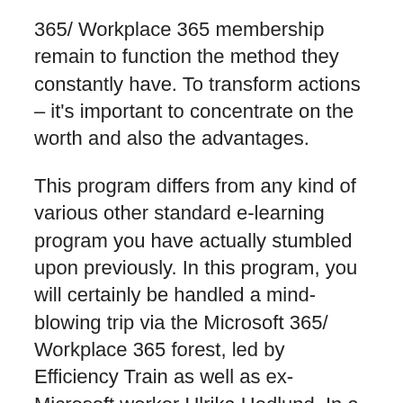365/ Workplace 365 membership remain to function the method they constantly have. To transform actions – it's important to concentrate on the worth and also the advantages.
This program differs from any kind of various other standard e-learning program you have actually stumbled upon previously. In this program, you will certainly be handled a mind-blowing trip via the Microsoft 365/ Workplace 365 forest, led by Efficiency Train as well as ex-Microsoft worker Ulrika Hedlund. In a distinct idea of story-based tutorials, you will certainly see real-life circumstances of “what you require to recognize” to successfully make use of these devices to function smarter.